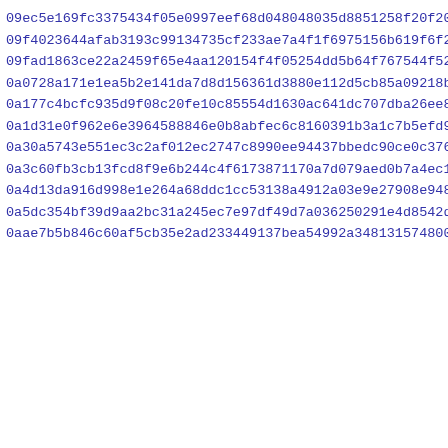09ec5e169fc3375434f05e0997eef68d048048035d8851258f20f20b8a997
09f4023644afab3193c99134735cf233ae7a4f1f6975156b619f6f20feb64
09fad1863ce22a2459f65e4aa120154f4f05254dd5b64f767544f52ab94df
0a0728a171e1ea5b2e141da7d8d156361d3880e112d5cb85a09218b6b0516
0a177c4bcfc935d9f08c20fe10c85554d1630ac641dc707dba26ee8b645a3
0a1d31e0f962e6e3964588846e0b8abfec6c8160391b3a1c7b5efd90f20f1
0a30a5743e551ec3c2af012ec2747c8990ee94437bbedc90ce0c376d4dbdf
0a3c60fb3cb13fcd8f9e6b244c4f6173871170a7d079aed0b7a4ec1bd5033
0a4d13da916d998e1e264a68ddc1cc53138a4912a03e9e27908e948918e9d
0a5dc354bf39d9aa2bc31a245ec7e97df49d7a036250291e4d8542dcb3820
0aae7b5b846c60af5cb35e2ad233491 37bea54992a348131574800141181c3